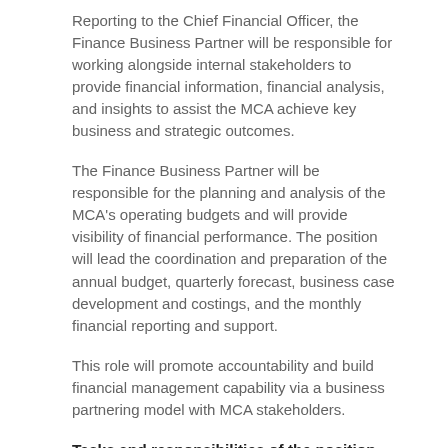Reporting to the Chief Financial Officer, the Finance Business Partner will be responsible for working alongside internal stakeholders to provide financial information, financial analysis, and insights to assist the MCA achieve key business and strategic outcomes.
The Finance Business Partner will be responsible for the planning and analysis of the MCA's operating budgets and will provide visibility of financial performance. The position will lead the coordination and preparation of the annual budget, quarterly forecast, business case development and costings, and the monthly financial reporting and support.
This role will promote accountability and build financial management capability via a business partnering model with MCA stakeholders.
Tasks and responsibilities of the position
Support the Chief Financial Officer with the Planning,